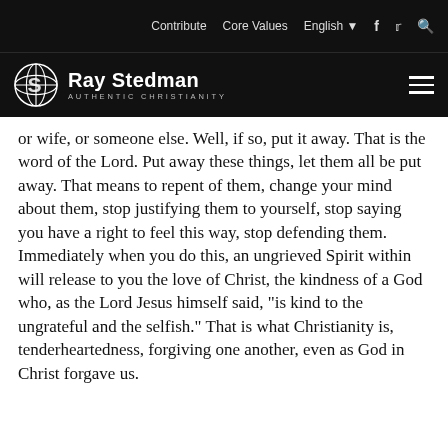Contribute   Core Values   English   f   Twitter   Search
Ray Stedman AUTHENTIC CHRISTIANITY
or wife, or someone else. Well, if so, put it away. That is the word of the Lord. Put away these things, let them all be put away. That means to repent of them, change your mind about them, stop justifying them to yourself, stop saying you have a right to feel this way, stop defending them. Immediately when you do this, an ungrieved Spirit within will release to you the love of Christ, the kindness of a God who, as the Lord Jesus himself said, "is kind to the ungrateful and the selfish." That is what Christianity is, tenderheartedness, forgiving one another, even as God in Christ forgave us.